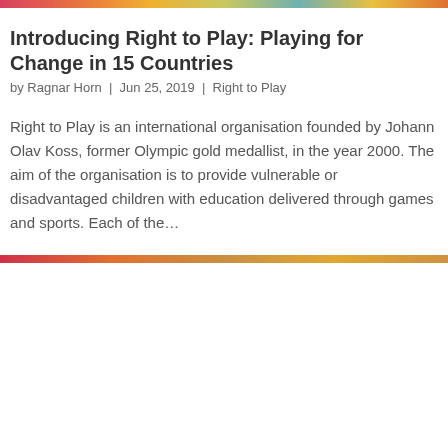[Figure (photo): Colorful photo strip at top of page showing children playing]
Introducing Right to Play: Playing for Change in 15 Countries
by Ragnar Horn | Jun 25, 2019 | Right to Play
Right to Play is an international organisation founded by Johann Olav Koss, former Olympic gold medallist, in the year 2000. The aim of the organisation is to provide vulnerable or disadvantaged children with education delivered through games and sports. Each of the…
[Figure (photo): Colorful photo strip at bottom of page]